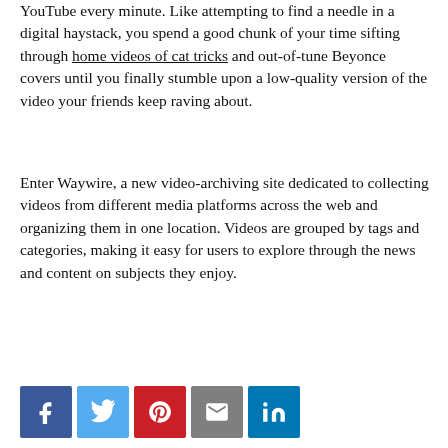YouTube every minute. Like attempting to find a needle in a digital haystack, you spend a good chunk of your time sifting through home videos of cat tricks and out-of-tune Beyonce covers until you finally stumble upon a low-quality version of the video your friends keep raving about.
Enter Waywire, a new video-archiving site dedicated to collecting videos from different media platforms across the web and organizing them in one location. Videos are grouped by tags and categories, making it easy for users to explore through the news and content on subjects they enjoy.